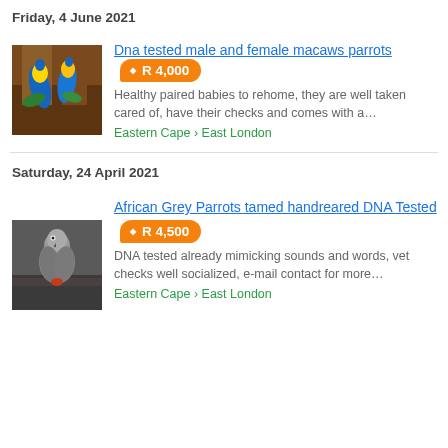Friday, 4 June 2021
[Figure (photo): Two blue and yellow macaw parrots perched on a wooden structure with green foliage in background]
Dna tested male and female macaws parrots • R 4,000
Healthy paired babies to rehome, they are well taken cared of, have their checks and comes with a…
Eastern Cape › East London
Saturday, 24 April 2021
[Figure (photo): African grey parrot perched on a wooden ledge or shelf, grey plumage visible]
African Grey Parrots tamed handreared DNA Tested • R 4,500
DNA tested already mimicking sounds and words, vet checks well socialized, e-mail contact for more…
Eastern Cape › East London